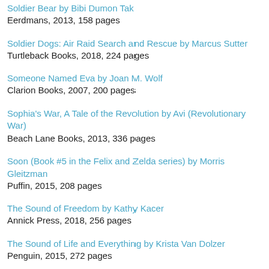Soldier Bear by Bibi Dumon Tak
Eerdmans, 2013, 158 pages
Soldier Dogs: Air Raid Search and Rescue by Marcus Sutter
Turtleback Books, 2018, 224 pages
Someone Named Eva by Joan M. Wolf
Clarion Books, 2007, 200 pages
Sophia's War, A Tale of the Revolution by Avi (Revolutionary War)
Beach Lane Books, 2013, 336 pages
Soon (Book #5 in the Felix and Zelda series) by Morris Gleitzman
Puffin, 2015, 208 pages
The Sound of Freedom by Kathy Kacer
Annick Press, 2018, 256 pages
The Sound of Life and Everything by Krista Van Dolzer
Penguin, 2015, 272 pages